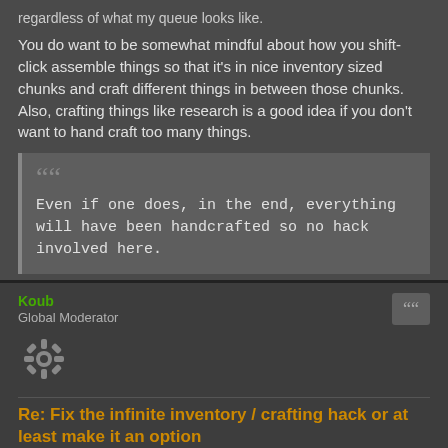regardless of what my queue looks like.
You do want to be somewhat mindful about how you shift-click assemble things so that it's in nice inventory sized chunks and craft different things in between those chunks. Also, crafting things like research is a good idea if you don't want to hand craft too many things.
Even if one does, in the end, everything will have been handcrafted so no hack involved here.
Not sure I understand this quote. Unless you meant the opposite, as I hand craft relatively little with this hack
OptimaUPS Mod, pm for info.
Koub
Global Moderator
Re: Fix the infinite inventory / crafting hack or at least make it an option